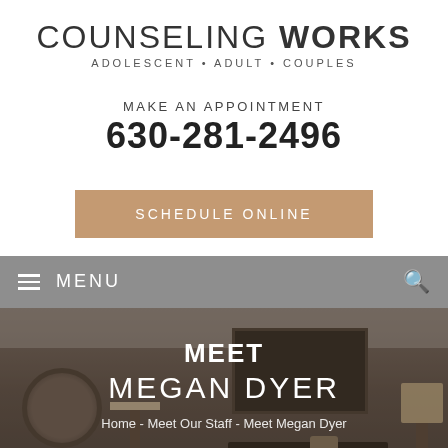COUNSELING WORKS
ADOLESCENT • ADULT • COUPLES
MAKE AN APPOINTMENT
630-281-2496
SCHEDULE ONLINE
☰ MENU
[Figure (screenshot): Interior of counseling office waiting room with round mirror, floor lamps, dark sofa, framed artwork on wall, and wood flooring]
MEET
MEGAN DYER
Home - Meet Our Staff - Meet Megan Dyer
[Figure (photo): Circular cropped portrait photo of Megan Dyer, a woman with glasses and light hair]